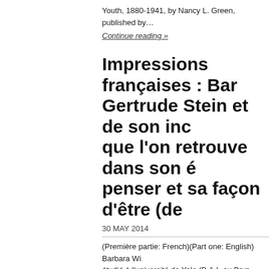Youth, 1880-1941, by Nancy L. Green, published by…
Continue reading »
Impressions françaises : Bar Gertrude Stein et de son inc que l'on retrouve dans son é penser et sa façon d'être (de
30 MAY 2014
(Première partie: French)(Part one: English) Barbara Wi étudié à l'université de Yale (B.A.), au Bryn…
Continue reading »
Impressions françaises : Bar Gertrude Stein, Bernard Fay durant le temps de guerre en partie)
29 MAY 2014